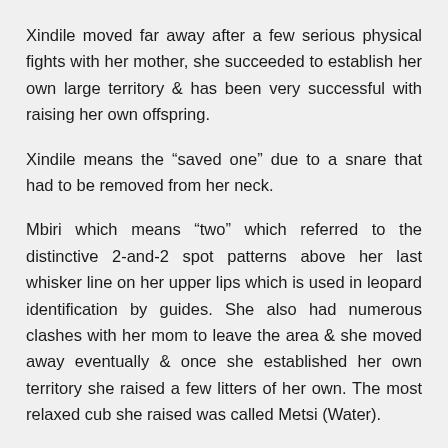Xindile moved far away after a few serious physical fights with her mother, she succeeded to establish her own large territory & has been very successful with raising her own offspring.
Xindile means the “saved one” due to a snare that had to be removed from her neck.
Mbiri which means “two” which referred to the distinctive 2-and-2 spot patterns above her last whisker line on her upper lips which is used in leopard identification by guides. She also had numerous clashes with her mom to leave the area & she moved away eventually & once she established her own territory she raised a few litters of her own. The most relaxed cub she raised was called Metsi (Water).
Tsonga was the very quiet cub, the skittish or shy cub, she hardly got used to the vehicles.